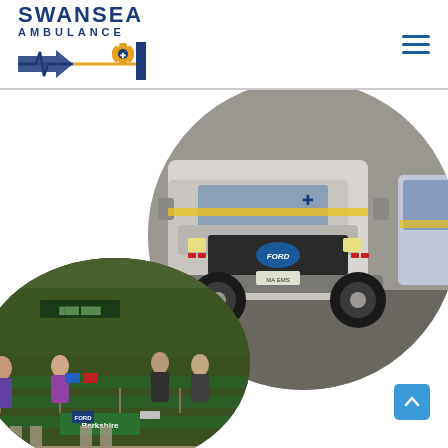Swansea Ambulance — navigation header with logo and hamburger menu
[Figure (photo): Circular cropped photo of a silver Ford ambulance truck (Type I/III) parked on asphalt, with another ambulance vehicle visible in the background on the right. The truck features yellow reflective markings and EMS star-of-life emblems.]
[Figure (photo): Circular/oval cropped photo of an indoor gymnasium or community center set up for a job fair or event, with folding tables, green tablecloths, banners including a 'Berkshire' sign, and several people visible in the background.]